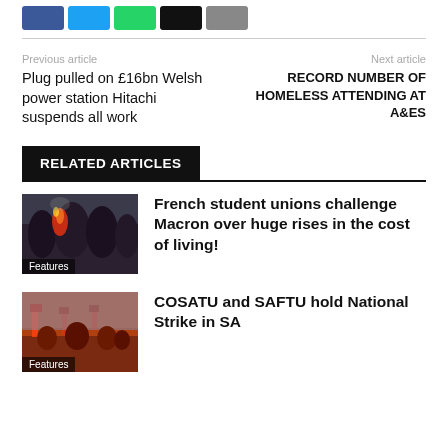[Figure (other): Social share buttons: Facebook (blue), Twitter (cyan), WhatsApp (green), a black button, and a grey button]
Previous article
Plug pulled on £16bn Welsh power station Hitachi suspends all work
Next article
RECORD NUMBER OF HOMELESS ATTENDING AT A&Es
RELATED ARTICLES
[Figure (photo): Photo of French student protest with flares, labelled Features]
French student unions challenge Macron over huge rises in the cost of living!
[Figure (photo): Photo of COSATU/SAFTU strike march, labelled Features]
COSATU and SAFTU hold National Strike in SA